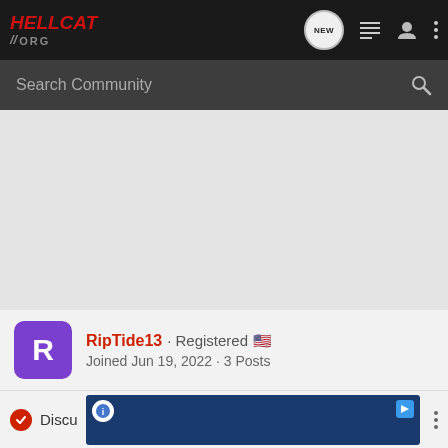[Figure (screenshot): Hellcat.org website navigation bar with logo, NEW bubble icon, list icon, user icon, and dots menu icon on dark background]
Search Community
[Figure (screenshot): Gray empty content area (advertisement space)]
RipTide13 · Registered 🇺🇸
Joined Jun 19, 2022 · 3 Posts
Discu